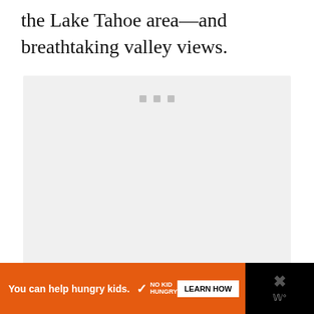the Lake Tahoe area—and breathtaking valley views.
[Figure (photo): A placeholder image block with a light gray background and three small gray squares near the top center, indicating an image loading state or placeholder for a photo.]
You can help hungry kids. NO KID HUNGRY LEARN HOW